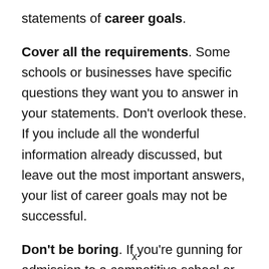statements of career goals.
Cover all the requirements. Some schools or businesses have specific questions they want you to answer in your statements. Don't overlook these. If you include all the wonderful information already discussed, but leave out the most important answers, your list of career goals may not be successful.
Don't be boring. If you're gunning for admission to a competitive school or committee, the last thing you want to do is
x